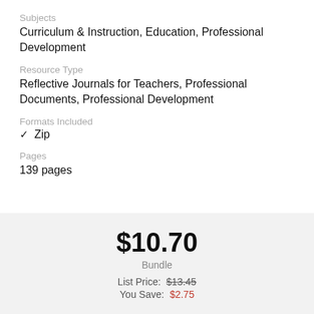Subjects
Curriculum & Instruction, Education, Professional Development
Resource Type
Reflective Journals for Teachers, Professional Documents, Professional Development
Formats Included
✓ Zip
Pages
139 pages
$10.70
Bundle
List Price: $13.45
You Save: $2.75